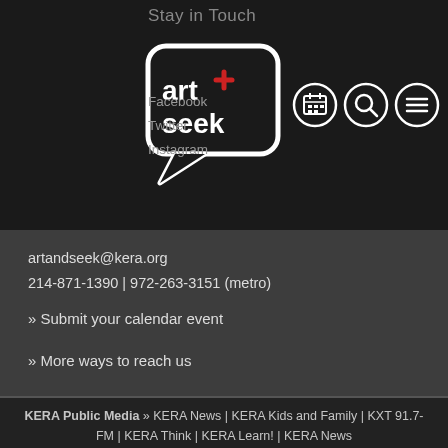Stay in Touch
[Figure (logo): Art&Seek logo — stylized speech bubble with 'art seek' text and a red cross/star symbol, white on dark background]
Facebook
Twitter
Instagram
artandseek@kera.org
214-871-1390 | 972-263-3151 (metro)
» Submit your calendar event
Art&Seek
KERA Public Radio/Television
3000 Harry Hines Boulevard
Dallas, Texas 75201
» More ways to reach us
KERA Public Media » KERA News | KERA Kids and Family | KXT 91.7-FM | KERA Think | KERA Learn! | KERA News